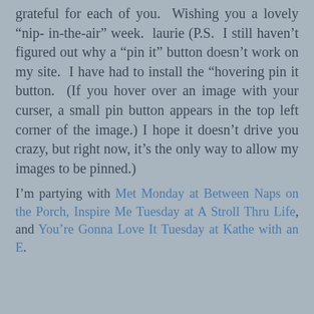grateful for each of you.  Wishing you a lovely “nip- in-the-air” week.  laurie (P.S.  I still haven’t figured out why a “pin it” button doesn’t work on my site.  I have had to install the “hovering pin it button.  (If you hover over an image with your curser, a small pin button appears in the top left corner of the image.) I hope it doesn’t drive you crazy, but right now, it’s the only way to allow my images to be pinned.)
I’m partying with Met Monday at Between Naps on the Porch, Inspire Me Tuesday at A Stroll Thru Life, and You’re Gonna Love It Tuesday at Kathe with an E.